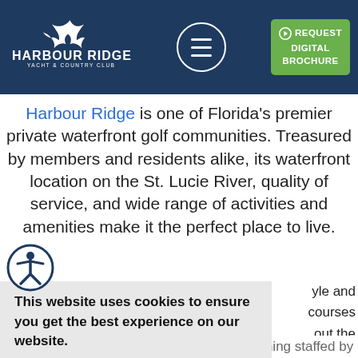Harbour Ridge Yacht & Country Club - navigation header with logo, menu button, and Request Digital Brochure button
Harbour Ridge is one of Florida's premier private waterfront golf communities. Treasured by members and residents alike, its waterfront location on the St. Lucie River, quality of service, and wide range of activities and amenities make it the perfect place to live.
[Figure (screenshot): Accessibility icon - person in circle with arms raised]
This website uses cookies to ensure you get the best experience on our website. Learn more
Got it!
yle and courses out the s at the unding marina. icated to
your tennis success, with programs and training staffed by